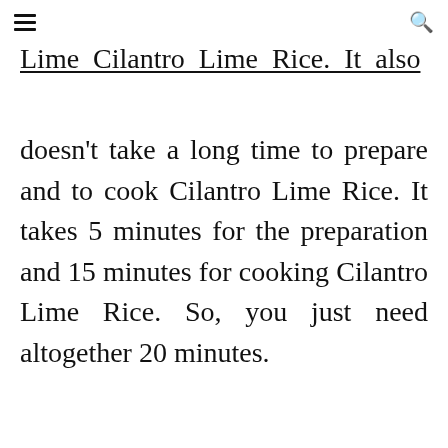≡  🔍
Lime Cilantro Lime Rice. It also
doesn't take a long time to prepare and to cook Cilantro Lime Rice. It takes 5 minutes for the preparation and 15 minutes for cooking Cilantro Lime Rice. So, you just need altogether 20 minutes.